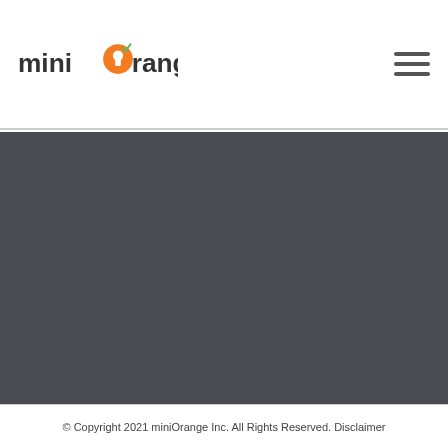miniOrange
[Figure (logo): miniOrange logo with orange circle containing a keyhole and green checkmark, followed by 'orange' text in dark color]
© Copyright 2021 miniOrange Inc. All Rights Reserved. Disclaimer